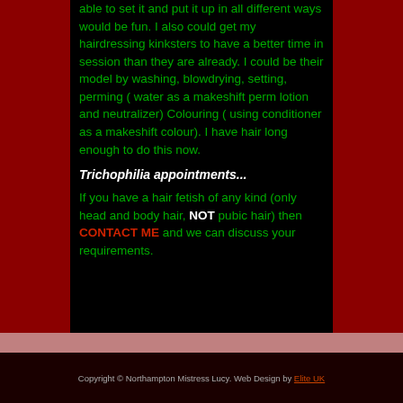able to set it and put it up in all different ways would be fun. I also could get my hairdressing kinksters to have a better time in session than they are already.  I could be their model by washing, blowdrying, setting, perming ( water as a makeshift perm lotion and neutralizer) Colouring ( using conditioner as a makeshift colour). I have hair long enough to do this now.
Trichophilia appointments...
If you have a hair fetish of any kind (only head and body hair, NOT pubic hair) then CONTACT ME  and we can discuss your requirements.
Copyright © Northampton Mistress Lucy. Web Design by Elite UK